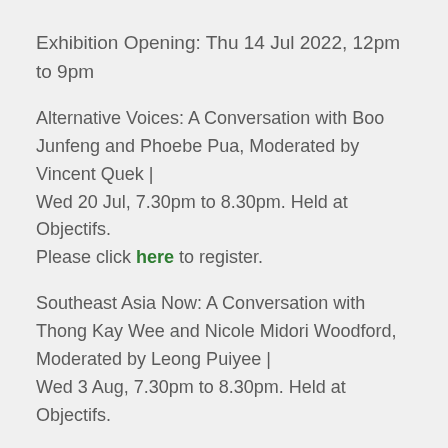Exhibition Opening: Thu 14 Jul 2022, 12pm to 9pm
Alternative Voices: A Conversation with Boo Junfeng and Phoebe Pua, Moderated by Vincent Quek | Wed 20 Jul, 7.30pm to 8.30pm. Held at Objectifs. Please click here to register.
Southeast Asia Now: A Conversation with Thong Kay Wee and Nicole Midori Woodford, Moderated by Leong Puiyee | Wed 3 Aug, 7.30pm to 8.30pm. Held at Objectifs.